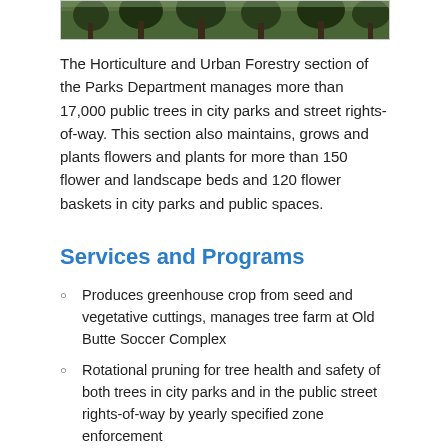[Figure (photo): Partial photo strip showing trees/forest at top of page]
The Horticulture and Urban Forestry section of the Parks Department manages more than 17,000 public trees in city parks and street rights-of-way. This section also maintains, grows and plants flowers and plants for more than 150 flower and landscape beds and 120 flower baskets in city parks and public spaces.
Services and Programs
Produces greenhouse crop from seed and vegetative cuttings, manages tree farm at Old Butte Soccer Complex
Rotational pruning for tree health and safety of both trees in city parks and in the public street rights-of-way by yearly specified zone enforcement
Street tree inventory and planting program